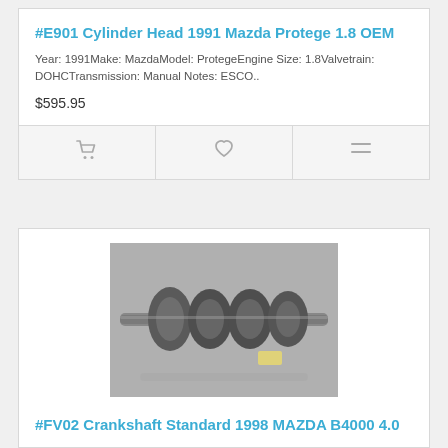#E901 Cylinder Head 1991 Mazda Protege 1.8 OEM
Year: 1991Make: MazdaModel: ProtegeEngine Size: 1.8Valvetrain: DOHCTransmission: Manual Notes:  ESCO..
$595.95
[Figure (photo): Photo of a crankshaft part on a gray surface, with a tag attached]
#FV02 Crankshaft Standard 1998 MAZDA B4000 4.0